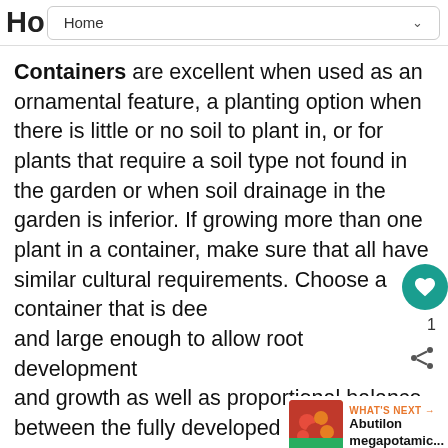Ho  Home
Containers are excellent when used as an ornamental feature, a planting option when there is little or no soil to plant in, or for plants that require a soil type not found in the garden or when soil drainage in the garden is inferior. If growing more than one plant in a container, make sure that all have similar cultural requirements. Choose a container that is deep and large enough to allow root development and growth as well as proportional balance between the fully developed plant and the container. Plant large containers in the you intend them to stay. All containers have drainage holes. A mesh screen, broken